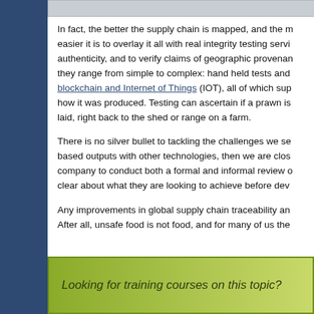[Figure (other): Top image banner, gray]
In fact, the better the supply chain is mapped, and the m... easier it is to overlay it all with real integrity testing servi... authenticity, and to verify claims of geographic provenan... they range from simple to complex: hand held tests and blockchain and Internet of Things (IOT), all of which sup... how it was produced. Testing can ascertain if a prawn is laid, right back to the shed or range on a farm.
There is no silver bullet to tackling the challenges we se... based outputs with other technologies, then we are clos... company to conduct both a formal and informal review o... clear about what they are looking to achieve before dev...
Any improvements in global supply chain traceability an... After all, unsafe food is not food, and for many of us the...
Looking for training courses on this topic?